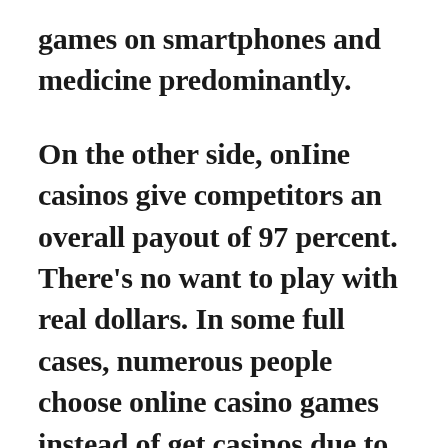games on smartphones and medicine predominantly.
On the other side, onIine casinos give competitors an overall payout of 97 percent. There's no want to play with real dollars. In some full cases, numerous people choose online casino games instead of get casinos due to the lack of noise, crowds, and inconvenience that numerous gamers might sense. Take up Free of cost Online Port Unit Activities. This online casino is the easiest way to raise money. Right